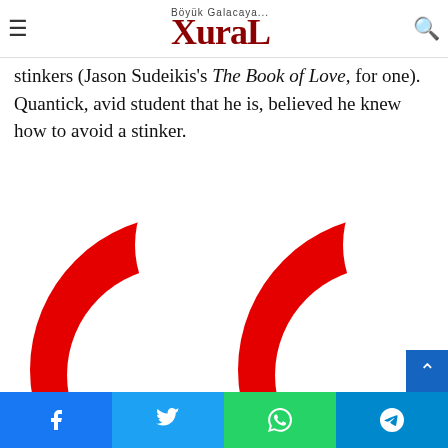XuraL – Böyük Galacaya...
Perhaps he experienced vicarious relief, too. The good film examples, it seems, are anomalous ones. For every shining example of… ultimately… there are many absolute stinkers (Jason Sudeikis's The Book of Love, for one). Quantick, avid student that he is, believed he knew how to avoid a stinker.
[Figure (illustration): Two large red quotation mark symbols (opening double curly quotes) on a white background, rendered in a bold red color with a circular shape.]
Social share bar: Facebook, Twitter, WhatsApp, Telegram